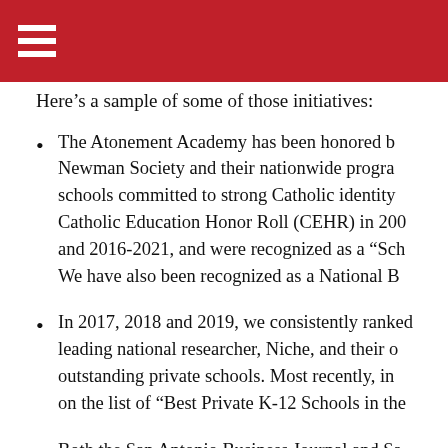Here's a sample of some of those initiatives:
The Atonement Academy has been honored by the Newman Society and their nationwide program of schools committed to strong Catholic identity, Catholic Education Honor Roll (CEHR) in 2009 and 2016-2021, and were recognized as a "Sch... We have also been recognized as a National B...
In 2017, 2018 and 2019, we consistently ranked by leading national researcher, Niche, and their outstanding private schools. Most recently, in on the list of "Best Private K-12 Schools in the...
Both the San Antonio Business Journal and Sa... have consistently ranked The Atonement Acad... school in San Antonio.